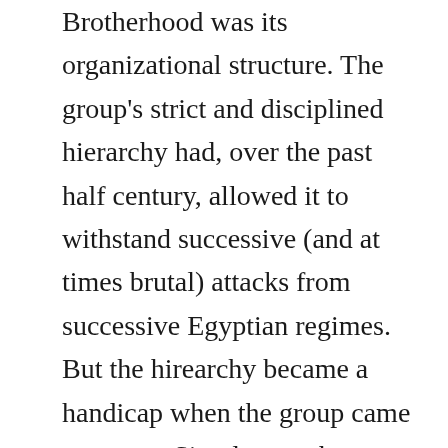Brotherhood was its organizational structure. The group's strict and disciplined hierarchy had, over the past half century, allowed it to withstand successive (and at times brutal) attacks from successive Egyptian regimes. But the hirearchy became a handicap when the group came to power. Simply put, there was no room for both the sprawling and influential administrative arms of the Egyptian state and the sprawling and powerful administrative arms of the Brotherhood, which continued to behave autonomously.

The result of all of this is well known. Now the organization must choose one of three paths